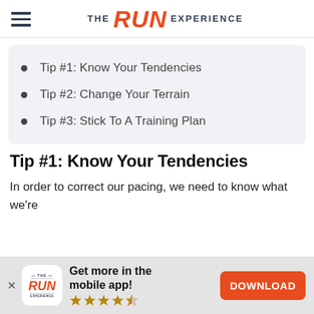THE RUN EXPERIENCE
Tip #1: Know Your Tendencies
Tip #2: Change Your Terrain
Tip #3: Stick To A Training Plan
Tip #1: Know Your Tendencies
In order to correct our pacing, we need to know what we're
[Figure (other): App download banner with The Run Experience logo, 'Get more in the mobile app!' text, 4 filled stars and 1 half star, and an orange DOWNLOAD button]